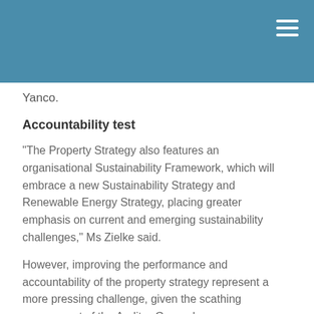Yanco.
Accountability test
“The Property Strategy also features an organisational Sustainability Framework, which will embrace a new Sustainability Strategy and Renewable Energy Strategy, placing greater emphasis on current and emerging sustainability challenges,” Ms Zielke said.
However, improving the performance and accountability of the property strategy represent a more pressing challenge, given the scathing assessment of the Auditor-General.
The ANAO report sharply criticised CSIRO’s management of the property portfolio and operating